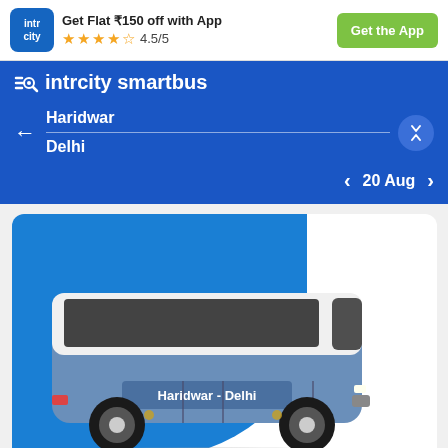[Figure (screenshot): IntrCity SmartBus app header with logo, offer text 'Get Flat ₹150 off with App', star rating 4.5/5, and 'Get the App' button]
Get Flat ₹150 off with App
4.5/5
Get the App
intrcity smartbus
Haridwar
Delhi
20 Aug
[Figure (illustration): Illustration of a bus labeled Haridwar - Delhi on a blue and white background]
Trip Overview